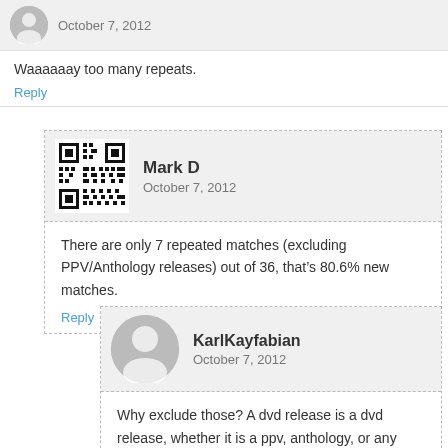October 7, 2012
Waaaaaay too many repeats.
Reply
Mark D
October 7, 2012
There are only 7 repeated matches (excluding PPV/Anthology releases) out of 36, that’s 80.6% new matches.
Reply
KarlKayfabian
October 7, 2012
Why exclude those? A dvd release is a dvd release, whether it is a ppv, anthology, or any other kind of set. Again, I’m a fan of your work and I appreciate the time and thought you put into these.